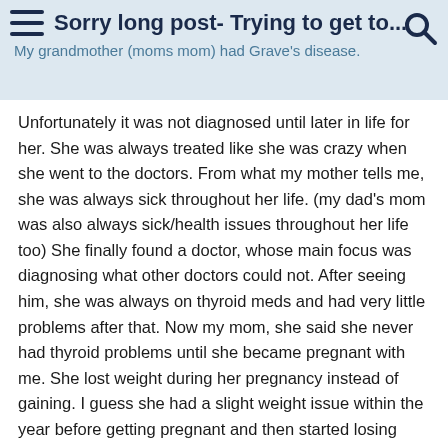Sorry long post- Trying to get to...
My grandmother (moms mom) had Grave's disease.
Unfortunately it was not diagnosed until later in life for her. She was always treated like she was crazy when she went to the doctors. From what my mother tells me, she was always sick throughout her life. (my dad's mom was also always sick/health issues throughout her life too) She finally found a doctor, whose main focus was diagnosing what other doctors could not. After seeing him, she was always on thyroid meds and had very little problems after that. Now my mom, she said she never had thyroid problems until she became pregnant with me. She lost weight during her pregnancy instead of gaining. I guess she had a slight weight issue within the year before getting pregnant and then started losing weight during the pregnancy. She also said, the day after she had me, she was down 35lbs, from her weight of before she was even pregnant. But she